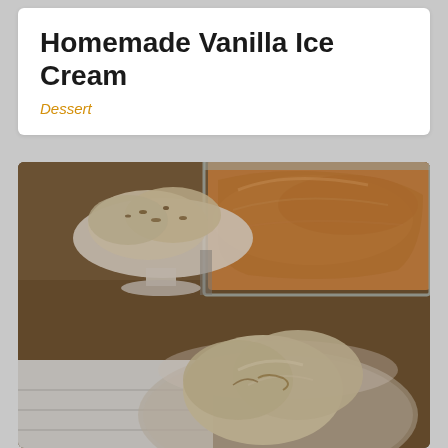Homemade Vanilla Ice Cream
Dessert
[Figure (photo): Photo of homemade vanilla ice cream served in glass bowls and a pedestal dish, with a loaf of baked bread in a metal pan visible in the background, on a wooden surface.]